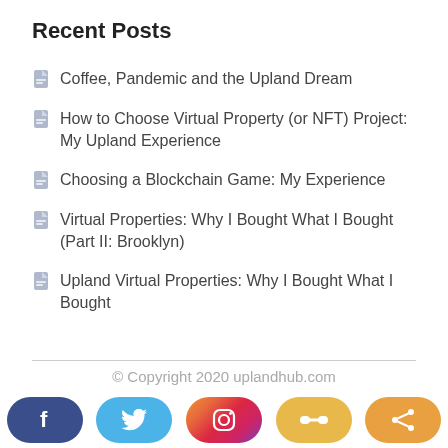Recent Posts
Coffee, Pandemic and the Upland Dream
How to Choose Virtual Property (or NFT) Project: My Upland Experience
Choosing a Blockchain Game: My Experience
Virtual Properties: Why I Bought What I Bought (Part II: Brooklyn)
Upland Virtual Properties: Why I Bought What I Bought
© Copyright 2020 uplandhub.com
Terms of Use   Privacy Policy